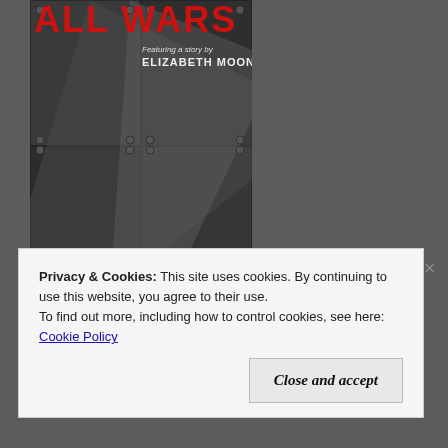[Figure (illustration): Book cover for SFFWorld.com's 3rd Annual Short Story Anthology — black and white industrial/military imagery with red title text at top partially visible reading 'ALL WARS', text 'Featuring a story by ELIZABETH MOON' in upper right, and 'Edited by N.E. WHITE' in lower right corner.]
SFFWorld.com's 3rd Annual Short Story Anthology
Privacy & Cookies: This site uses cookies. By continuing to use this website, you agree to their use.
To find out more, including how to control cookies, see here: Cookie Policy
Close and accept